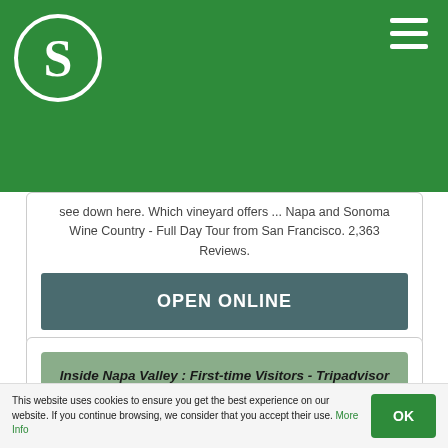S (logo) — navigation header with green background and hamburger menu
see down here. Which vineyard offers ... Napa and Sonoma Wine Country - Full Day Tour from San Francisco. 2,363 Reviews.
OPEN ONLINE
Inside Napa Valley : First-time Visitors - Tripadvisor
A good place to find both Napa and Sonoma wine tasting coupons is right here ... fake, no Las Vegas gondola ride smaltz, this damn castle is authentic down to ...
This website uses cookies to ensure you get the best experience on our website. If you continue browsing, we consider that you accept their use. More Info